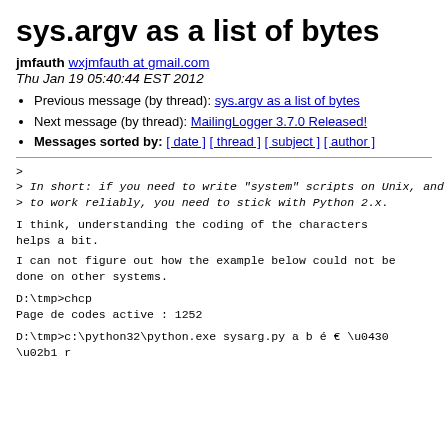sys.argv as a list of bytes
jmfauth wxjmfauth at gmail.com
Thu Jan 19 05:40:44 EST 2012
Previous message (by thread): sys.argv as a list of bytes
Next message (by thread): MailingLogger 3.7.0 Released!
Messages sorted by: [ date ] [ thread ] [ subject ] [ author ]
>
> In short: if you need to write "system" scripts on Unix, and you need them
> to work reliably, you need to stick with Python 2.x.
I think, understanding the coding of the characters helps a bit.
I can not figure out how the example below could not be done on other systems.
D:\tmp>chcp
Page de codes active : 1252
D:\tmp>c:\python32\python.exe sysarg.py a b é € \u0430
\u02b1 r